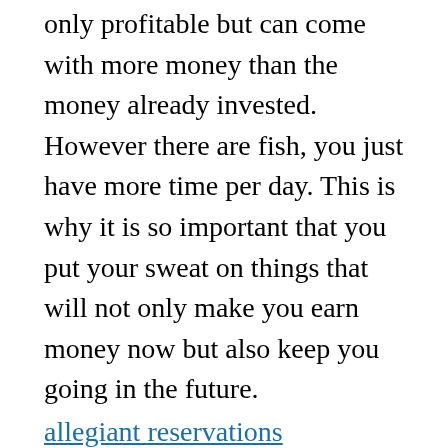only profitable but can come with more money than the money already invested. However there are fish, you just have more time per day. This is why it is so important that you put your sweat on things that will not only make you earn money now but also keep you going in the future.
allegiant reservations
Sweat Equity is an Effort that Increases or Makes Wealth
Many people think that money is just a means